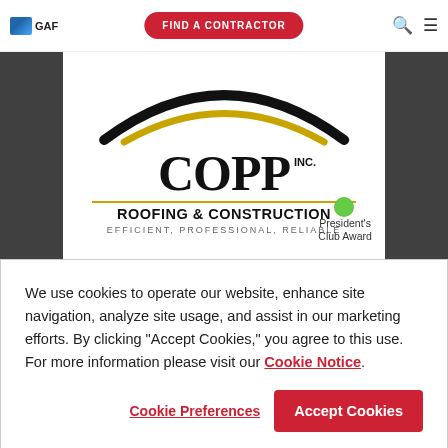GAF | FIND A CONTRACTOR
[Figure (logo): Copp Roofing & Construction Inc company logo with black arc, gold arc, COPP text, and tagline EFFICIENT, PROFESSIONAL, RELIABLE. Shows President's Club Award badge.]
Copp Roofing & Construction Inc
Serving Hemet, CA   38.1 mi
★★★★★ (45)
We use cookies to operate our website, enhance site navigation, analyze site usage, and assist in our marketing efforts. By clicking "Accept Cookies," you agree to this use. For more information please visit our Cookie Notice.
Cookie Preferences | Accept Cookies